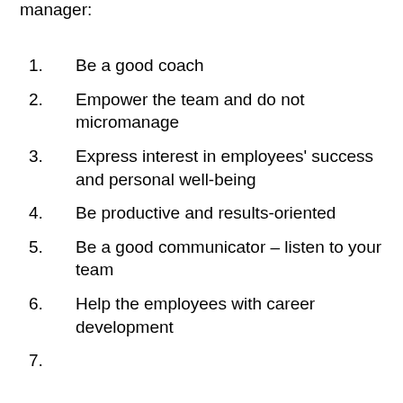manager:
1. Be a good coach
2. Empower the team and do not micromanage
3. Express interest in employees' success and personal well-being
4. Be productive and results-oriented
5. Be a good communicator – listen to your team
6. Help the employees with career development
7. (continues below)